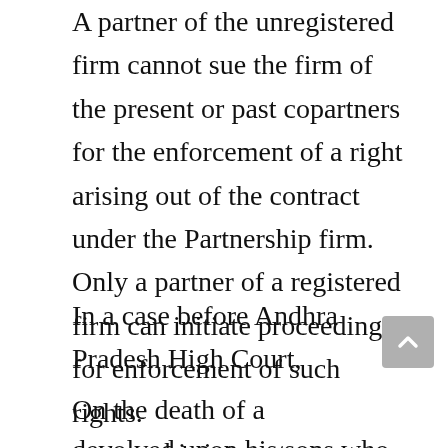A partner of the unregistered firm cannot sue the firm of the present or past copartners for the enforcement of a right arising out of the contract under the Partnership firm. Only a partner of a registered firm can initiate proceedings for enforcement of such rights.
In a case before Andhra Pradesh High Court,
On the death of a partner, his interest devolved upon his sons who became